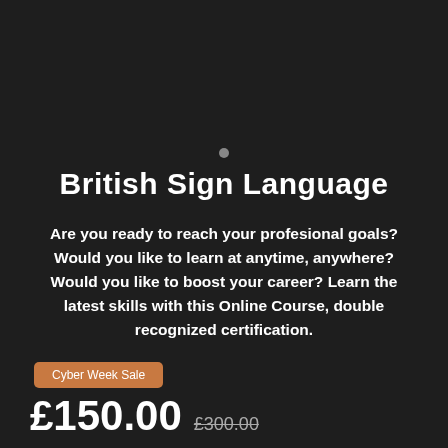British Sign Language
Are you ready to reach your profesional goals? Would you like to learn at anytime, anywhere? Would you like to boost your career? Learn the latest skills with this Online Course, double recognized certification.
Cyber Week Sale
£150.00  £300.00